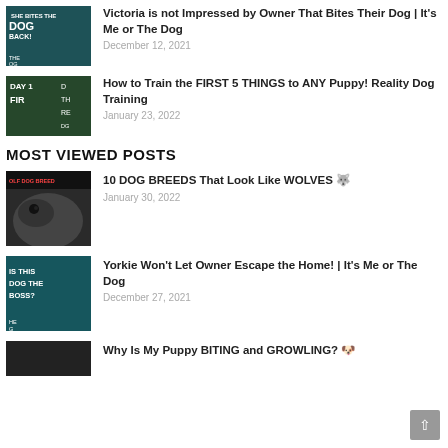[Figure (photo): Thumbnail for Victoria dog biting video]
Victoria is not Impressed by Owner That Bites Their Dog | It's Me or The Dog
December 12, 2021
[Figure (photo): Thumbnail for puppy training Day 1 video]
How to Train the FIRST 5 THINGS to ANY Puppy! Reality Dog Training
January 23, 2022
MOST VIEWED POSTS
[Figure (photo): Thumbnail for wolf dog breeds video]
10 DOG BREEDS That Look Like WOLVES 🐺
January 30, 2022
[Figure (photo): Thumbnail for Yorkie owner video]
Yorkie Won't Let Owner Escape the Home! | It's Me or The Dog
December 27, 2021
[Figure (photo): Thumbnail for puppy biting and growling video]
Why Is My Puppy BITING and GROWLING? 🐶